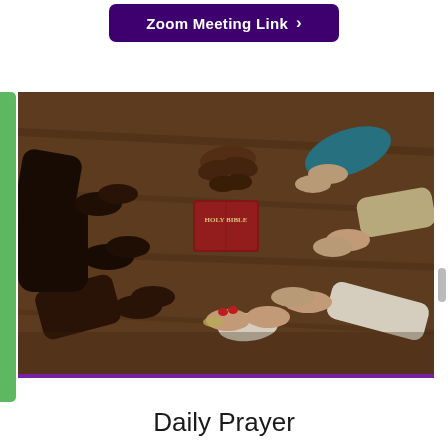[Figure (other): Purple button with text 'Zoom Meeting Link' and right arrow, on dark purple/indigo background]
[Figure (photo): Aerial view of a diverse group of people holding hands in a circle around a red Holy Bible on a wooden floor]
Daily Prayer